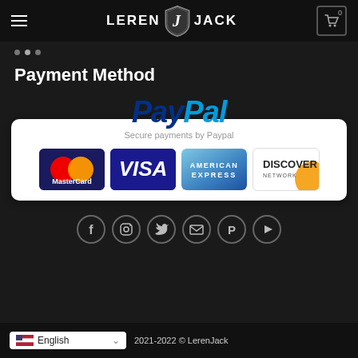LEREN J JACK
Payment Method
[Figure (logo): PayPal payment widget with logo, 'Secure payments by Paypal' text, and card logos: MasterCard, VISA, American Express, Discover Network]
[Figure (infographic): Social media icons row: Facebook, Instagram, Twitter, Email, Pinterest, YouTube]
2021-2022 © LerenJack